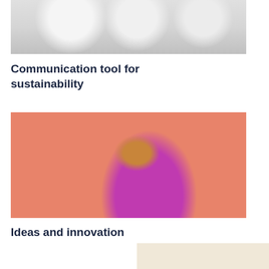[Figure (photo): Blurred photo of chairs or furniture items in gray/white tones, viewed from the front]
Communication tool for sustainability
[Figure (photo): Blurred photo of a person in pink/magenta clothing against a salmon/coral orange background]
Ideas and innovation
[Figure (photo): Partial blurred photo with warm beige/cream tones, cropped at page bottom]